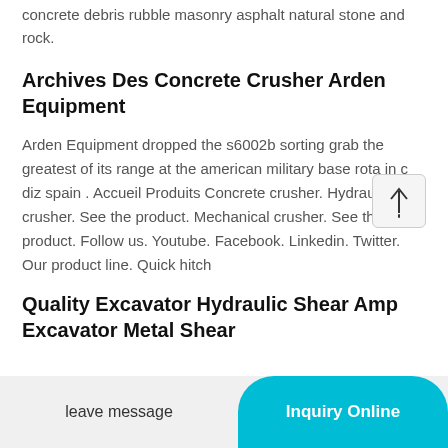concrete debris rubble masonry asphalt natural stone and rock.
Archives Des Concrete Crusher Arden Equipment
Arden Equipment dropped the s6002b sorting grab the greatest of its range at the american military base rota in c diz spain . Accueil Produits Concrete crusher. Hydraulic crusher. See the product. Mechanical crusher. See the product. Follow us. Youtube. Facebook. Linkedin. Twitter. Our product line. Quick hitch
Quality Excavator Hydraulic Shear Amp Excavator Metal Shear
leave message
Inquiry Online